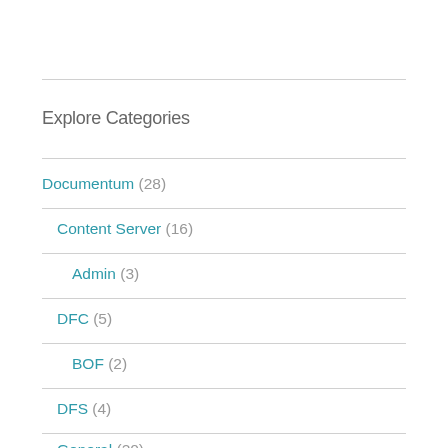Explore Categories
Documentum (28)
Content Server (16)
Admin (3)
DFC (5)
BOF (2)
DFS (4)
General (20)